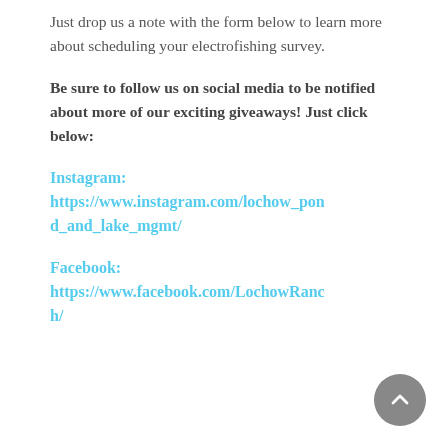Just drop us a note with the form below to learn more about scheduling your electrofishing survey.
Be sure to follow us on social media to be notified about more of our exciting giveaways! Just click below:
Instagram: https://www.instagram.com/lochow_pond_and_lake_mgmt/
Facebook: https://www.facebook.com/LochowRanch/